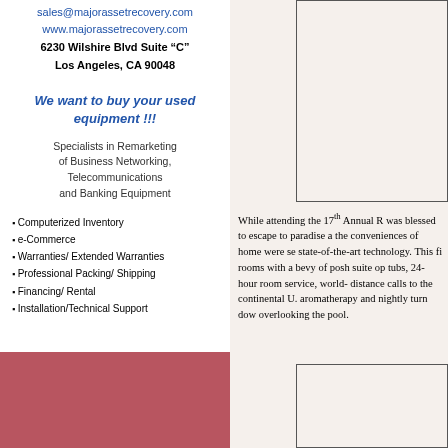sales@majorassetrecovery.com
www.majorassetrecovery.com
6230 Wilshire Blvd Suite “C”
Los Angeles, CA 90048
We want to buy your used equipment !!!
Specialists in Remarketing of Business Networking, Telecommunications and Banking Equipment
Computerized Inventory
e-Commerce
Warranties/ Extended Warranties
Professional Packing/ Shipping
Financing/ Rental
Installation/Technical Support
While attending the 17th Annual R... was blessed to escape to paradise and the conveniences of home were se... state-of-the-art technology. This fi... rooms with a bevy of posh suite op... tubs, 24-hour room service, world-... distance calls to the continental U.... aromatherapy and nightly turn dow... overlooking the pool.
[Figure (photo): Top photo box (partially visible)]
[Figure (photo): Bottom photo box (partially visible)]